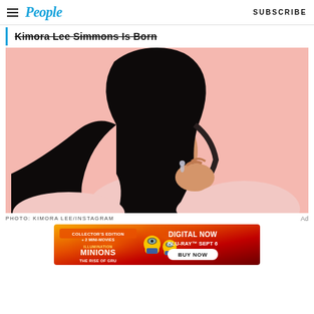People | SUBSCRIBE
Kimora Lee Simmons Is Born
[Figure (photo): Portrait photo of Kimora Lee Simmons against a pink background, wearing a light pink top, with long black hair, hand raised to neck showing an earring.]
PHOTO: KIMORA LEE/INSTAGRAM
[Figure (infographic): Minions: The Rise of Gru advertisement banner. Collector's Edition + 2 Mini-Movies. Digital Now. Blu-Ray Sept 6. Buy Now.]